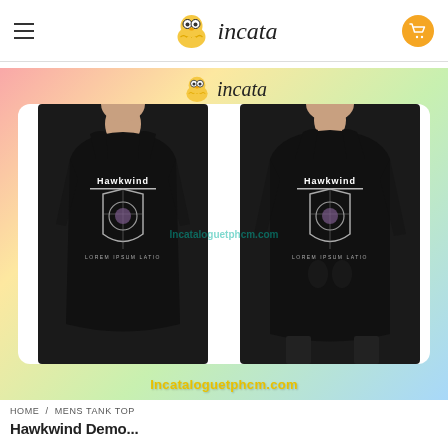incata (logo header with hamburger menu and cart button)
[Figure (photo): Product photo showing front and back view of a black Hawkwind band mens tank top with graphic design, displayed on male models. Incataloguetphcm.com watermark visible. Colorful gradient background (pink, yellow, green, blue). Incata logo watermark overlay on top. White rounded rectangle frame around tank top photos.]
HOME / MENS TANK TOP
Hawkwind Demo...